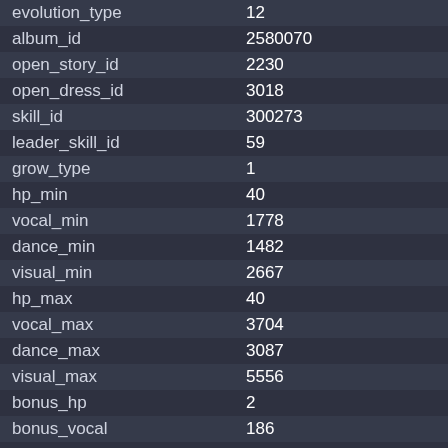| Field | Value |
| --- | --- |
| evolution_type | 12 |
| album_id | 2580070 |
| open_story_id | 2230 |
| open_dress_id | 3018 |
| skill_id | 300273 |
| leader_skill_id | 59 |
| grow_type | 1 |
| hp_min | 40 |
| vocal_min | 1778 |
| dance_min | 1482 |
| visual_min | 2667 |
| hp_max | 40 |
| vocal_max | 3704 |
| dance_max | 3087 |
| visual_max | 5556 |
| bonus_hp | 2 |
| bonus_vocal | 186 |